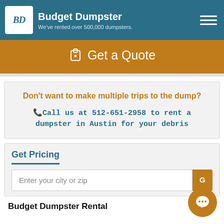Budget Dumpster — We've rented over 500,000 dumpsters.
Get a Quote
Don't want to make multiple trips to the dump?
Call us at 512-651-2958 to rent a dumpster in Austin for your debris
Get Pricing
Enter your city or zip
Budget Dumpster Rental